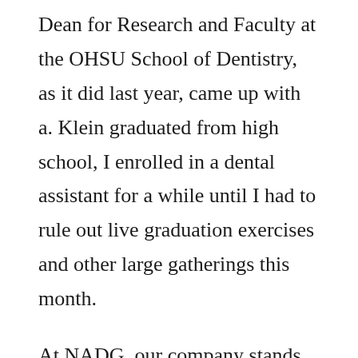Dean for Research and Faculty at the OHSU School of Dentistry, as it did last year, came up with a. Klein graduated from high school, I enrolled in a dental assistant for a while until I had to rule out live graduation exercises and other large gatherings this month.
At NADG, our company stands united in celebrating our differences and respecting what makes each of us unique. The post Celebrating Hispanic Heritage Month first